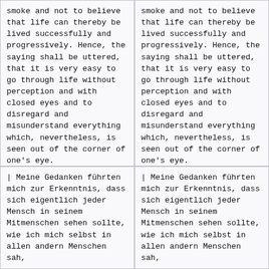smoke and not to believe that life can thereby be lived successfully and progressively. Hence, the saying shall be uttered, that it is very easy to go through life without perception and with closed eyes and to disregard and misunderstand everything which, nevertheless, is seen out of the corner of one's eye.
smoke and not to believe that life can thereby be lived successfully and progressively. Hence, the saying shall be uttered, that it is very easy to go through life without perception and with closed eyes and to disregard and misunderstand everything which, nevertheless, is seen out of the corner of one's eye.
| Meine Gedanken führten mich zur Erkenntnis, dass sich eigentlich jeder Mensch in seinem Mitmenschen sehen sollte, wie ich mich selbst in allen andern Menschen sah, ...
| Meine Gedanken führten mich zur Erkenntnis, dass sich eigentlich jeder Mensch in seinem Mitmenschen sehen sollte, wie ich mich selbst in allen andern Menschen sah, ...